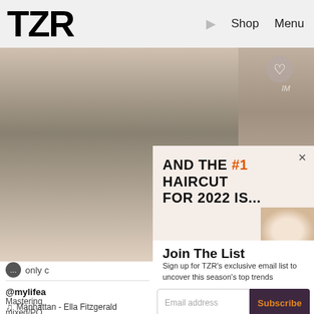TZR   ▶   Shop   Menu
[Figure (photo): Background photo of a person in a grey knit top with hands near neck/chest, with a heart icon overlay]
AND THE #1 HAIRCUT FOR 2022 IS...
[Figure (photo): Small portrait of blonde woman in the popup panel]
Join The List
Sign up for TZR's exclusive email list to uncover this season's top trends
only c
@mylifea
Mastering mixed/PO
Email address
Subscribe
Manhattan - Ella Fitzgerald